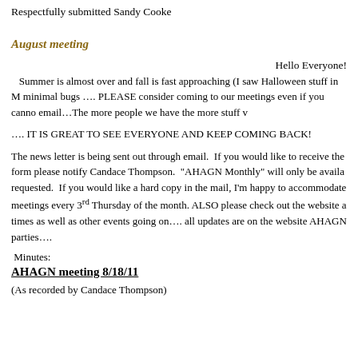Respectfully submitted Sandy Cooke
August meeting
Hello Everyone!
Summer is almost over and fall is fast approaching (I saw Halloween stuff in M minimal bugs …. PLEASE consider coming to our meetings even if you canno email…The more people we have the more stuff v
…. IT IS GREAT TO SEE EVERYONE AND KEEP COMING BACK!
The news letter is being sent out through email.  If you would like to receive the form please notify Candace Thompson.  "AHAGN Monthly" will only be availa requested.  If you would like a hard copy in the mail, I'm happy to accommodate meetings every 3rd Thursday of the month. ALSO please check out the website a times as well as other events going on…. all updates are on the website AHAGN parties….
Minutes:
AHAGN meeting 8/18/11
(As recorded by Candace Thompson)